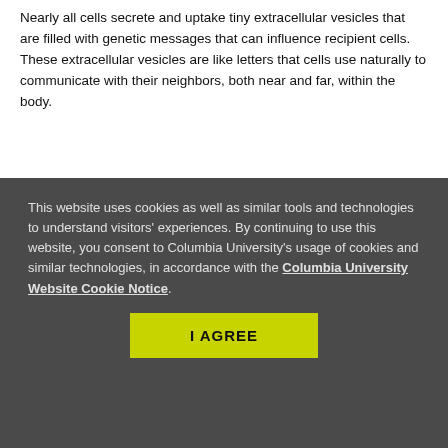Nearly all cells secrete and uptake tiny extracellular vesicles that are filled with genetic messages that can influence recipient cells. These extracellular vesicles are like letters that cells use naturally to communicate with their neighbors, both near and far, within the body.
This website uses cookies as well as similar tools and technologies to understand visitors' experiences. By continuing to use this website, you consent to Columbia University's usage of cookies and similar technologies, in accordance with the Columbia University Website Cookie Notice.